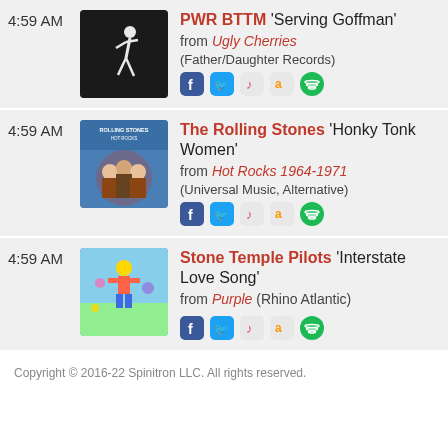4:59 AM — PWR BTTM 'Serving Goffman' from Ugly Cherries (Father/Daughter Records)
4:59 AM — The Rolling Stones 'Honky Tonk Women' from Hot Rocks 1964-1971 (Universal Music, Alternative)
4:59 AM — Stone Temple Pilots 'Interstate Love Song' from Purple (Rhino Atlantic)
Copyright © 2016-22 Spinitron LLC. All rights reserved.